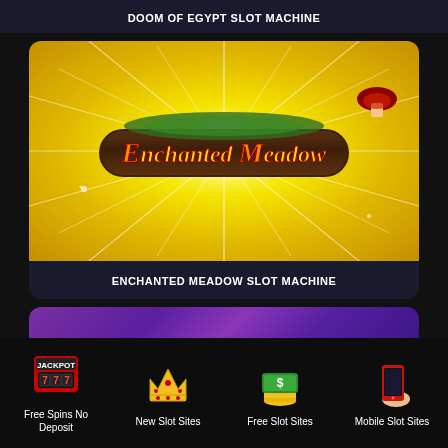DOOM OF EGYPT SLOT MACHINE
[Figure (illustration): Enchanted Meadow slot machine game logo on yellow sunburst background with a log plank and decorative foliage]
ENCHANTED MEADOW SLOT MACHINE
[Figure (illustration): Partial view of another slot machine card with purple gradient background]
[Figure (illustration): Footer icons: slot machine for Free Spins No Deposit, crown for New Slot Sites, stack of cash for Free Slot Sites, mobile phone for Mobile Slot Sites]
Free Spins No Deposit
New Slot Sites
Free Slot Sites
Mobile Slot Sites